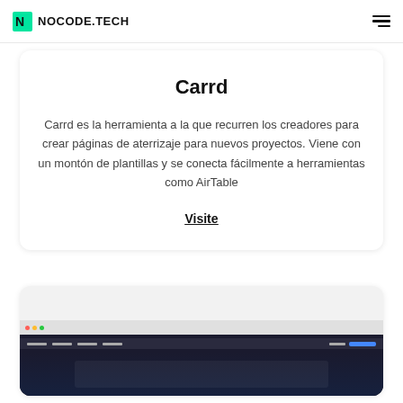NOCODE.TECH
Carrd
Carrd es la herramienta a la que recurren los creadores para crear páginas de aterrizaje para nuevos proyectos. Viene con un montón de plantillas y se conecta fácilmente a herramientas como AirTable
Visite
[Figure (screenshot): Screenshot of a dark-themed website interface shown in a browser window preview card with browser chrome and navigation bar]